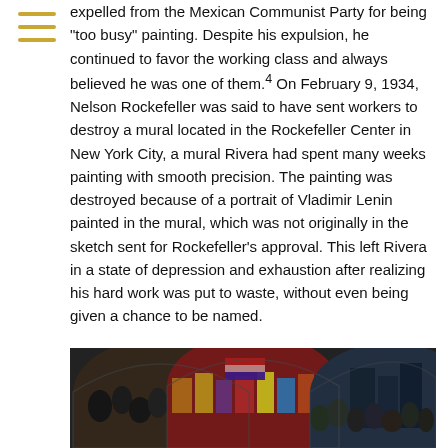expelled from the Mexican Communist Party for being "too busy" painting. Despite his expulsion, he continued to favor the working class and always believed he was one of them.4 On February 9, 1934, Nelson Rockefeller was said to have sent workers to destroy a mural located in the Rockefeller Center in New York City, a mural Rivera had spent many weeks painting with smooth precision. The painting was destroyed because of a portrait of Vladimir Lenin painted in the mural, which was not originally in the sketch sent for Rockefeller's approval. This left Rivera in a state of depression and exhaustion after realizing his hard work was put to waste, without even being given a chance to be named.
[Figure (photo): Photograph showing three arched mural panels by Diego Rivera depicting groups of figures, colorful and detailed.]